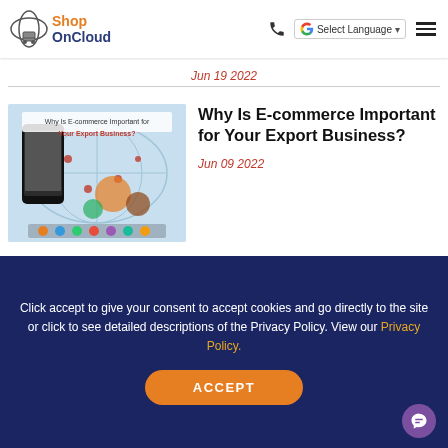Shop On Cloud - Select Language navigation header
Jun 19 2022
[Figure (screenshot): Blog article thumbnail: Why Is E-commerce Important for Your Export Business? - shows smartphone with food products and world map]
Why Is E-commerce Important for Your Export Business?
Jun 09 2022
Click accept to give your consent to accept cookies and go directly to the site or click to see detailed descriptions of the Privacy Policy. View our Privacy Policy.